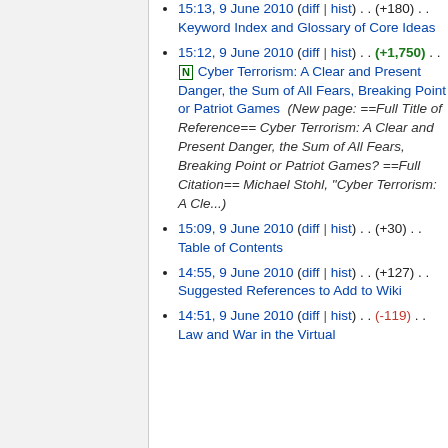15:13, 9 June 2010 (diff | hist) . . (+180) . . Keyword Index and Glossary of Core Ideas
15:12, 9 June 2010 (diff | hist) . . (+1,750) . . N Cyber Terrorism: A Clear and Present Danger, the Sum of All Fears, Breaking Point or Patriot Games (New page: ==Full Title of Reference== Cyber Terrorism: A Clear and Present Danger, the Sum of All Fears, Breaking Point or Patriot Games? ==Full Citation== Michael Stohl, "Cyber Terrorism: A Cle...)
15:09, 9 June 2010 (diff | hist) . . (+30) . . Table of Contents
14:55, 9 June 2010 (diff | hist) . . (+127) . . Suggested References to Add to Wiki
14:51, 9 June 2010 (diff | hist) . . (-119) . . Law and War in the Virtual